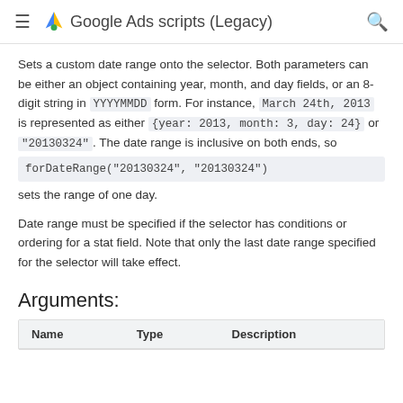Google Ads scripts (Legacy)
Sets a custom date range onto the selector. Both parameters can be either an object containing year, month, and day fields, or an 8-digit string in YYYYMMDD form. For instance, March 24th, 2013 is represented as either {year: 2013, month: 3, day: 24} or "20130324". The date range is inclusive on both ends, so forDateRange("20130324", "20130324") sets the range of one day.
Date range must be specified if the selector has conditions or ordering for a stat field. Note that only the last date range specified for the selector will take effect.
Arguments:
| Name | Type | Description |
| --- | --- | --- |